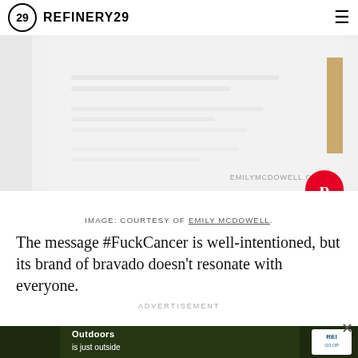REFINERY29
[Figure (photo): Partial view of a greeting card on light gray background, with a kraft paper tab on the right side. Watermark text reads EMILYMCDOWELL.C and a Pinterest button is overlaid bottom right.]
IMAGE: COURTESY OF EMILY MCDOWELL.
The message #FuckCancer is well-intentioned, but its brand of bravado doesn't resonate with everyone.
ADVERTISEMENT
[Figure (photo): REI advertisement banner showing outdoor scene with text 'Outdoors is just outside' and REI Co-op logo.]